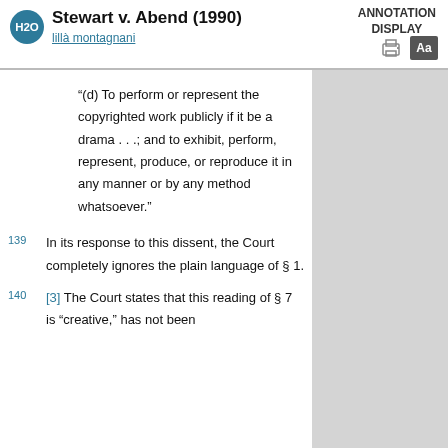Stewart v. Abend (1990)
ANNOTATION DISPLAY
lillà montagnani
"(d) To perform or represent the copyrighted work publicly if it be a drama . . .; and to exhibit, perform, represent, produce, or reproduce it in any manner or by any method whatsoever."
139 In its response to this dissent, the Court completely ignores the plain language of § 1.
140 [3] The Court states that this reading of § 7 is "creative," has not been